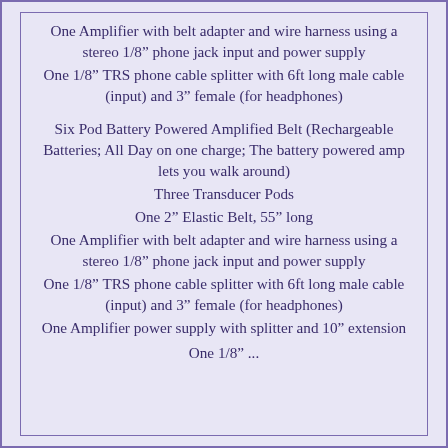One Amplifier with belt adapter and wire harness using a stereo 1/8” phone jack input and power supply
One 1/8” TRS phone cable splitter with 6ft long male cable (input) and 3” female (for headphones)
Six Pod Battery Powered Amplified Belt (Rechargeable Batteries; All Day on one charge; The battery powered amp lets you walk around)
Three Transducer Pods
One 2” Elastic Belt, 55” long
One Amplifier with belt adapter and wire harness using a stereo 1/8” phone jack input and power supply
One 1/8” TRS phone cable splitter with 6ft long male cable (input) and 3” female (for headphones)
One Amplifier power supply with splitter and 10” extension
One 1/8” ...